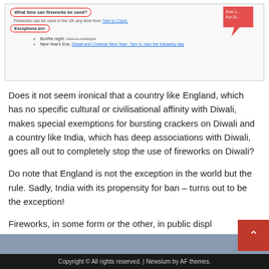[Figure (screenshot): Screenshot of a fireworks rules infographic showing 'What time can fireworks be used?' with red oval annotations, blue underlines, and a red speech bubble in the top right corner. Content includes times (7am to 11pm) and exceptions for Bonfire night, New Year's Eve, Diwali and Chinese New Year (7am to 1am the following day).]
Does it not seem ironical that a country like England, which has no specific cultural or civilisational affinity with Diwali, makes special exemptions for bursting crackers on Diwali and a country like India, which has deep associations with Diwali, goes all out to completely stop the use of fireworks on Diwali?
Do note that England is not the exception in the world but the rule. Sadly, India with its propensity for ban – turns out to be the exception!
Fireworks, in some form or the other, in public displ…
Copyright © All rights reserved. | Newsium by AF themes.